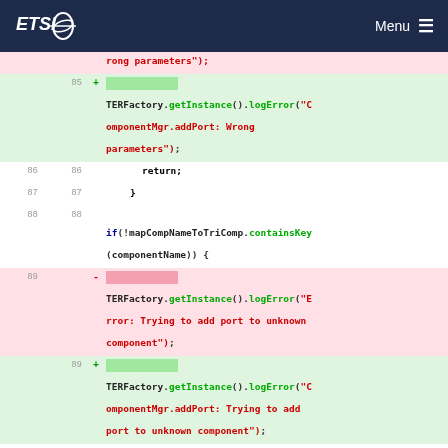ETSI  Menu
[Figure (screenshot): Code diff view showing changes to TERFactory.getInstance().logError() calls in lines 85-91. Deleted lines show old error messages without 'ComponentMgr.addPort:' prefix; added lines show new messages with that prefix. Lines 86-91 show context (return; }, if statement, return;, }).]